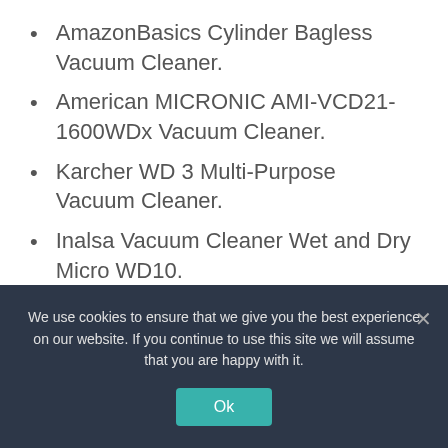AmazonBasics Cylinder Bagless Vacuum Cleaner.
American MICRONIC AMI-VCD21-1600WDx Vacuum Cleaner.
Karcher WD 3 Multi-Purpose Vacuum Cleaner.
Inalsa Vacuum Cleaner Wet and Dry Micro WD10.
Kent Force Cyclonic Vacuum Cleaner.
What is the
We use cookies to ensure that we give you the best experience on our website. If you continue to use this site we will assume that you are happy with it.